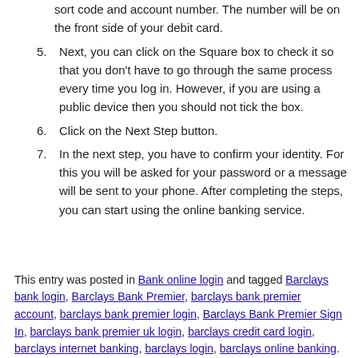(continuation) sort code and account number. The number will be on the front side of your debit card.
5. Next, you can click on the Square box to check it so that you don't have to go through the same process every time you log in. However, if you are using a public device then you should not tick the box.
6. Click on the Next Step button.
7. In the next step, you have to confirm your identity. For this you will be asked for your password or a message will be sent to your phone. After completing the steps, you can start using the online banking service.
This entry was posted in Bank online login and tagged Barclays bank login, Barclays Bank Premier, barclays bank premier account, barclays bank premier login, Barclays Bank Premier Sign In, barclays bank premier uk login, barclays credit card login, barclays internet banking, barclays login, barclays online banking.